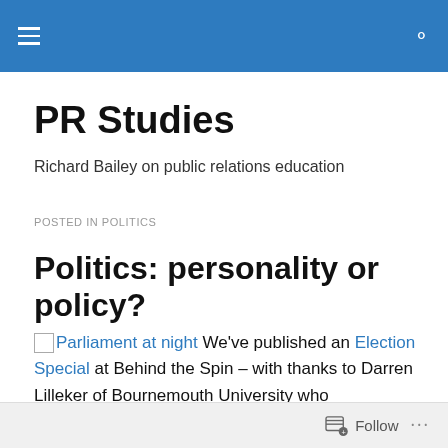PR Studies — navigation bar
PR Studies
Richard Bailey on public relations education
POSTED IN POLITICS
Politics: personality or policy?
We've published an Election Special at Behind the Spin – with thanks to Darren Lilleker of Bournemouth University who commissioned and vetted the articles.
Follow